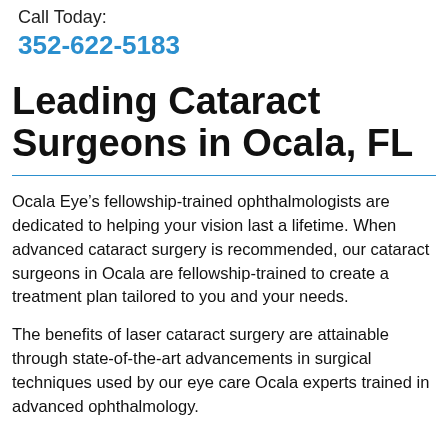Call Today:
352-622-5183
Leading Cataract Surgeons in Ocala, FL
Ocala Eye’s fellowship-trained ophthalmologists are dedicated to helping your vision last a lifetime. When advanced cataract surgery is recommended, our cataract surgeons in Ocala are fellowship-trained to create a treatment plan tailored to you and your needs.
The benefits of laser cataract surgery are attainable through state-of-the-art advancements in surgical techniques used by our eye care Ocala experts trained in advanced ophthalmology.